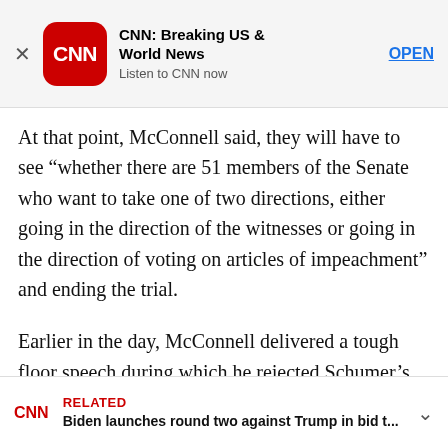[Figure (screenshot): CNN app advertisement banner with CNN logo, title 'CNN: Breaking US & World News', subtitle 'Listen to CNN now', and OPEN button]
At that point, McConnell said, they will have to see “whether there are 51 members of the Senate who want to take one of two directions, either going in the direction of the witnesses or going in the direction of voting on articles of impeachment” and ending the trial.
Earlier in the day, McConnell delivered a tough floor speech during which he rejected Schumer’s request to have those witnesses close to Trump testify at the trial. He blasted House Democrats for doing a “sloppy job” in their investigation and said he
[Figure (screenshot): CNN related article card: 'Biden launches round two against Trump in bid t...']